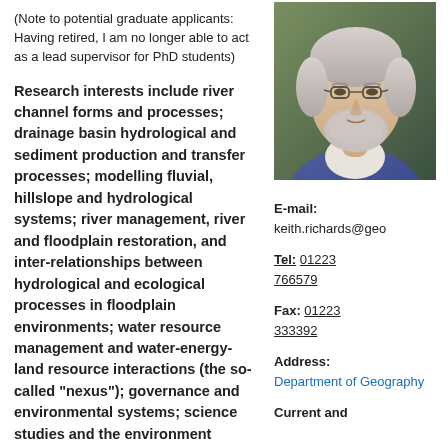(Note to potential graduate applicants: Having retired, I am no longer able to act as a lead supervisor for PhD students)
Research interests include river channel forms and processes; drainage basin hydrological and sediment production and transfer processes; modelling fluvial, hillslope and hydrological systems; river management, river and floodplain restoration, and inter-relationships between hydrological and ecological processes in floodplain environments; water resource management and water-energy-land resource interactions (the so-called "nexus"); governance and environmental systems; science studies and the environment sciences; environmental science and policy.
[Figure (photo): Portrait photo of a grey-haired older man with a beard wearing glasses and a blue jacket]
E-mail: keith.richards@geo
Tel: 01223 766579
Fax: 01223 333392
Address: Department of Geography
Current and